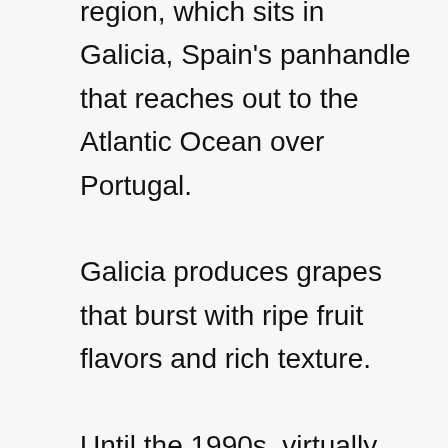region, which sits in Galicia, Spain's panhandle that reaches out to the Atlantic Ocean over Portugal.

Galicia produces grapes that burst with ripe fruit flavors and rich texture.

Until the 1990s, virtually none of the region's wine production left the region. It was made and consumed locally. Even today, as Rias Baixas makes a play for more national attention as it promotes